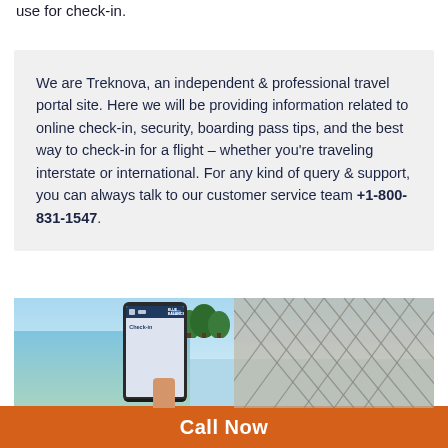use for check-in.
We are Treknova, an independent & professional travel portal site. Here we will be providing information related to online check-in, security, boarding pass tips, and the best way to check-in for a flight – whether you're traveling interstate or international. For any kind of query & support, you can always talk to our customer service team +1-800-831-1547.
[Figure (photo): A smartphone showing an airline check-in screen being held by a hand, with a tropical beach and hammock netting visible in the background.]
Call Now